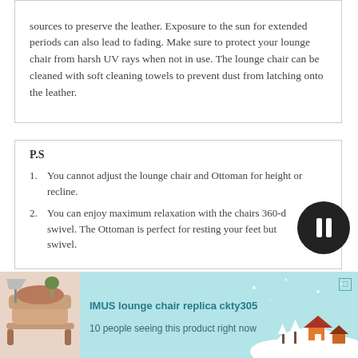sources to preserve the leather. Exposure to the sun for extended periods can also lead to fading. Make sure to protect your lounge chair from harsh UV rays when not in use. The lounge chair can be cleaned with soft cleaning towels to prevent dust from latching onto the leather.
P.S
1. You cannot adjust the lounge chair and Ottoman for height or recline.
2. You can enjoy maximum relaxation with the chairs 360-d... swivel. The Ottoman is perfect for resting your feet but... swivel.
[Figure (infographic): Ad banner for IMUS lounge chair replica ckty305 with product image and text '10 people seeing this product right now']